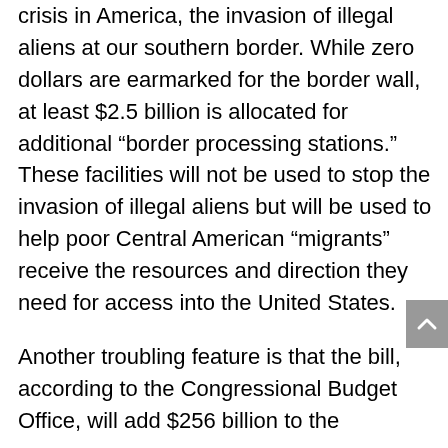crisis in America, the invasion of illegal aliens at our southern border. While zero dollars are earmarked for the border wall, at least $2.5 billion is allocated for additional “border processing stations.” These facilities will not be used to stop the invasion of illegal aliens but will be used to help poor Central American “migrants” receive the resources and direction they need for access into the United States.
Another troubling feature is that the bill, according to the Congressional Budget Office, will add $256 billion to the